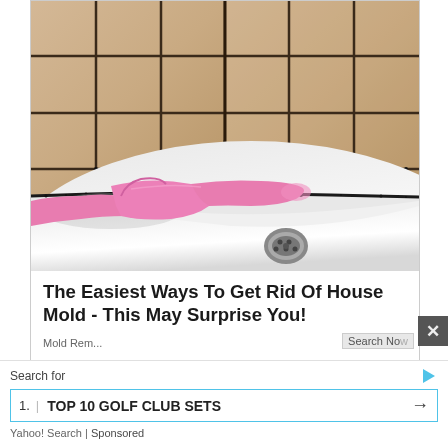[Figure (photo): Photo of a bathroom shower corner with beige ceramic tiles showing black mold in the grout lines. A hand wearing a pink rubber glove points to the mold near the white shower tray. A metal drain is visible in the lower right of the white shower floor.]
The Easiest Ways To Get Rid Of House Mold - This May Surprise You!
Search for
1. | TOP 10 GOLF CLUB SETS →
Yahoo! Search | Sponsored